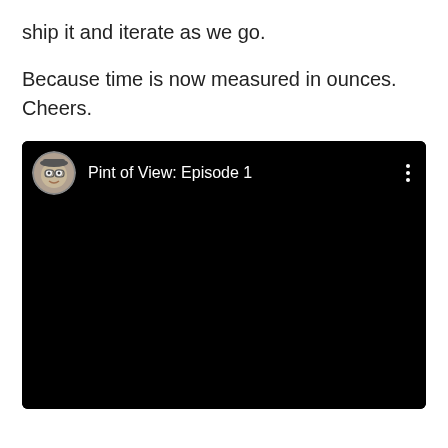ship it and iterate as we go.
Because time is now measured in ounces. Cheers.
[Figure (screenshot): Embedded video player with black background showing 'Pint of View: Episode 1' with a circular avatar icon of a cartoon face on the left and a three-dot menu icon on the right]